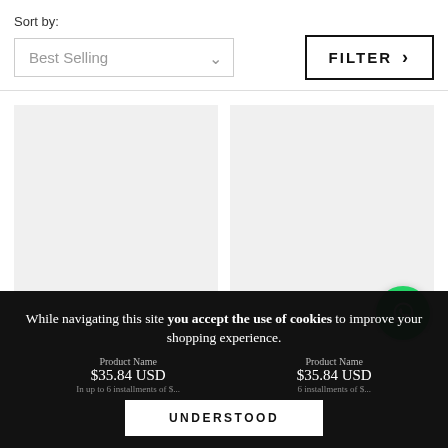Sort by:
Best Selling
FILTER ›
[Figure (other): Two product placeholder image cards side by side with light gray background]
[Figure (other): WhatsApp floating action button (green circle with phone icon)]
While navigating this site you accept the use of cookies to improve your shopping experience.
$35.84 USD
$35.84 USD
In up to 6 installments of $...
6 installments of $...
UNDERSTOOD